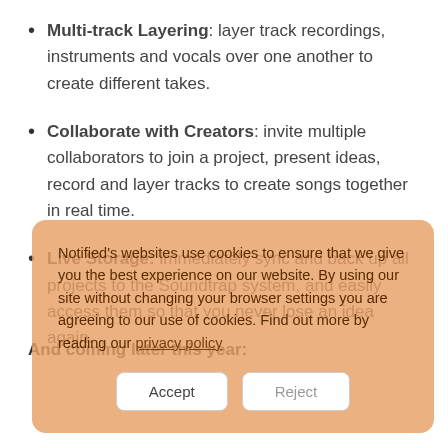Multi-track Layering: layer track recordings, instruments and vocals over one another to create different takes.
Collaborate with Creators: invite multiple collaborators to join a project, present ideas, record and layer tracks to create songs together in real time.
Live Storage: immediately sync and back up all projects to the Soundtrap system, and easily access them so that you never lose an idea again.
Notified's websites use cookies to ensure that we give you the best experience on our website. By using our site without changing your browser settings you are agreeing to our use of cookies. Find out more by reading our privacy policy
And coming later this year: